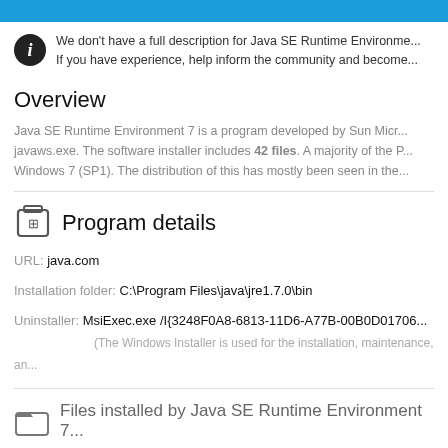We don't have a full description for Java SE Runtime Environment. If you have experience, help inform the community and become
Overview
Java SE Runtime Environment 7 is a program developed by Sun Micro. javaws.exe. The software installer includes 42 files. A majority of the PC Windows 7 (SP1). The distribution of this has mostly been seen in the
Program details
URL: java.com
Installation folder: C:\Program Files\java\jre1.7.0\bin
Uninstaller: MsiExec.exe /I{3248F0A8-6813-11D6-A77B-00B0D01706 (The Windows Installer is used for the installation, maintenance, an
Files installed by Java SE Runtime Environment 7